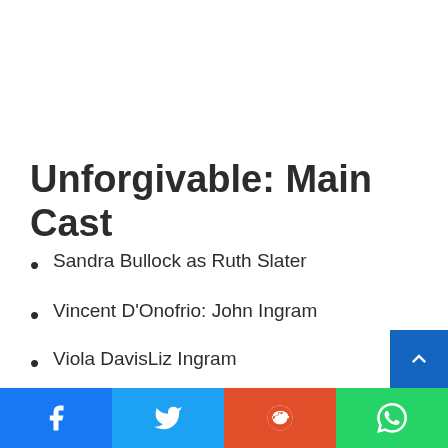Unforgivable: Main Cast
Sandra Bullock as Ruth Slater
Vincent D'Onofrio: John Ingram
Viola DavisLiz Ingram
Aisling Franciosi: Katherine “Katie” Malcolm
Richard ThomasMichael Malcolm
Linda Emond: Rachel Malcolm